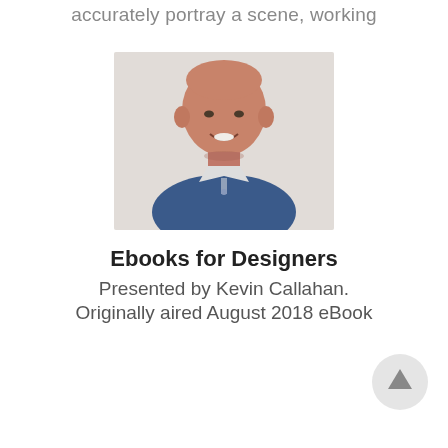accurately portray a scene, working
[Figure (photo): Headshot of a middle-aged bald man wearing a blue denim shirt, smiling, against a light background.]
Ebooks for Designers
Presented by Kevin Callahan.
Originally aired August 2018 eBook